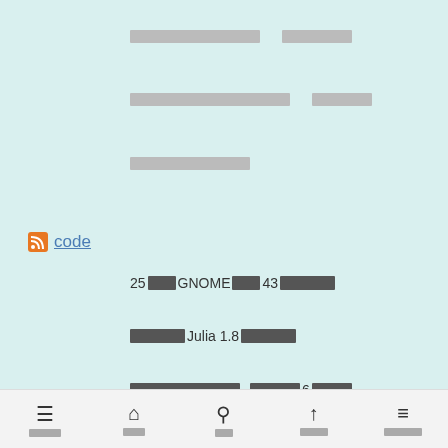[redacted] [redacted]
[redacted] [redacted]
[redacted]
RSS code
25[redacted]GNOME[redacted]43[redacted]
[redacted]Julia 1.8[redacted]
[redacted] [redacted]6[redacted]
[nav bar: menu | home | search | top | sidebar]